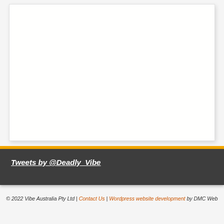[Figure (other): White blank content panel with light border and shadow, main page content area]
Tweets by @Deadly_Vibe
© 2022 Vibe Australia Pty Ltd | Contact Us | Wordpress website development by DMC Web